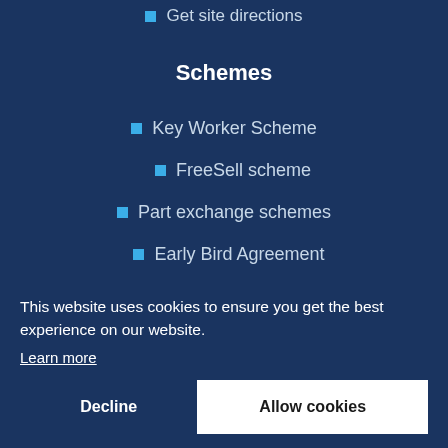Get site directions
Schemes
Key Worker Scheme
FreeSell scheme
Part exchange schemes
Early Bird Agreement
This website uses cookies to ensure you get the best experience on our website.
Learn more
Decline
Allow cookies